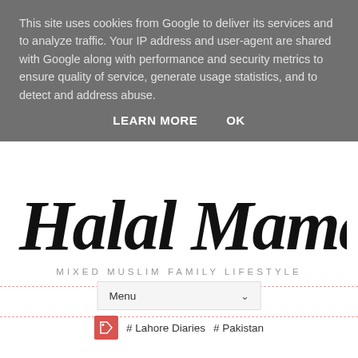This site uses cookies from Google to deliver its services and to analyze traffic. Your IP address and user-agent are shared with Google along with performance and security metrics to ensure quality of service, generate usage statistics, and to detect and address abuse.
LEARN MORE   OK
Halal Mama
MIXED MUSLIM FAMILY LIFESTYLE
Menu
# Lahore Diaries   # Pakistan